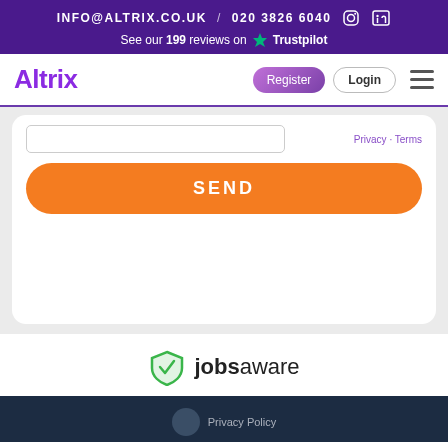INFO@ALTRIX.CO.UK / 020 3826 6040 — See our 199 reviews on Trustpilot
[Figure (screenshot): Altrix website navigation bar with logo, Register and Login buttons, and hamburger menu]
Privacy · Terms (partial form input visible)
SEND
[Figure (logo): Jobsaware logo — green shield with checkmark and the text 'jobsaware']
Privacy Policy (dark footer bar)